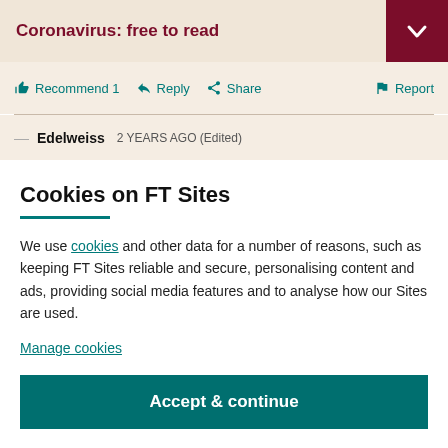Coronavirus: free to read
Recommend 1  Reply  Share  Report
— Edelweiss  2 YEARS AGO (Edited)
Cookies on FT Sites
We use cookies and other data for a number of reasons, such as keeping FT Sites reliable and secure, personalising content and ads, providing social media features and to analyse how our Sites are used.
Manage cookies
Accept & continue